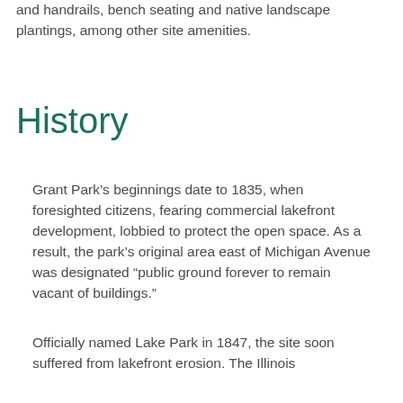and handrails, bench seating and native landscape plantings, among other site amenities.
History
Grant Park's beginnings date to 1835, when foresighted citizens, fearing commercial lakefront development, lobbied to protect the open space. As a result, the park's original area east of Michigan Avenue was designated "public ground forever to remain vacant of buildings."
Officially named Lake Park in 1847, the site soon suffered from lakefront erosion. The Illinois